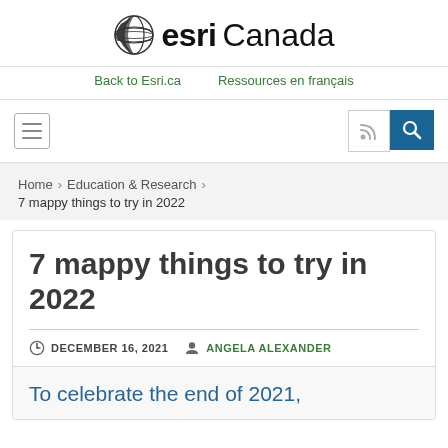[Figure (logo): Esri Canada globe logo with text 'esri Canada']
Back to Esri.ca    Ressources en français
[Figure (other): Navigation bar with hamburger menu on left and RSS/search icons on right]
Home > Education & Research > 7 mappy things to try in 2022
7 mappy things to try in 2022
DECEMBER 16, 2021   ANGELA ALEXANDER
To celebrate the end of 2021,